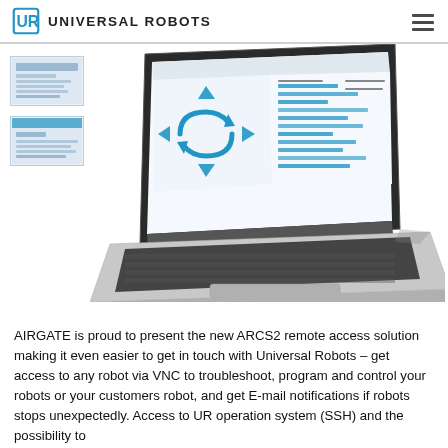UNIVERSAL ROBOTS
[Figure (screenshot): A MacBook laptop displaying the ARCS2 remote access software interface with blue navigation arrows and dashboard controls. Two thumbnail screenshots are shown on the left side.]
AIRGATE is proud to present the new ARCS2 remote access solution making it even easier to get in touch with Universal Robots – get access to any robot via VNC to troubleshoot, program and control your robots or your customers robot, and get E-mail notifications if robots stops unexpectedly. Access to UR operation system (SSH) and the possibility to